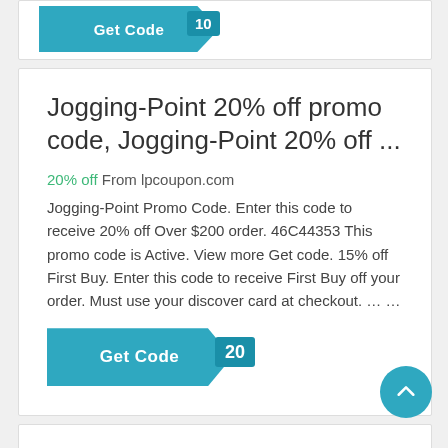[Figure (screenshot): Partial top card showing a teal 'Get Code' button cropped at top of page]
Jogging-Point 20% off promo code, Jogging-Point 20% off ...
20% off From lpcoupon.com
Jogging-Point Promo Code. Enter this code to receive 20% off Over $200 order. 46C44353 This promo code is Active. View more Get code. 15% off First Buy. Enter this code to receive First Buy off your order. Must use your discover card at checkout. … …
[Figure (screenshot): Teal 'Get Code' button with '20' code tag on the right side]
[Figure (screenshot): Circular teal back-to-top arrow button in bottom right corner]